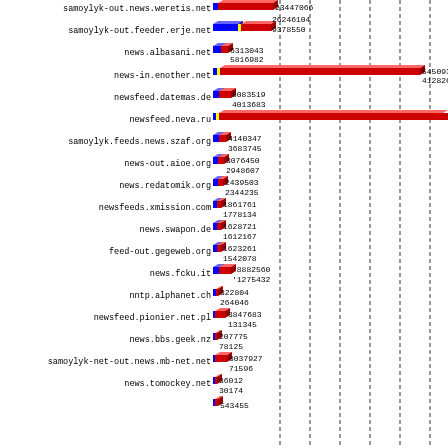[Figure (bar-chart): News server traffic comparison]